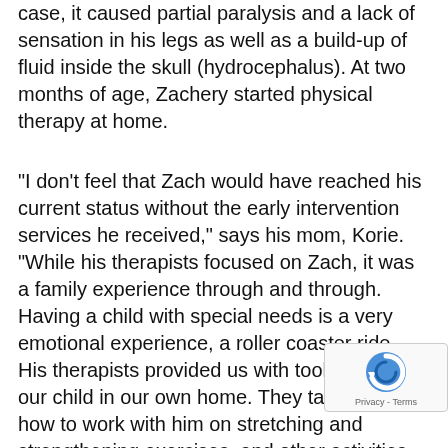case, it caused partial paralysis and a lack of sensation in his legs as well as a build-up of fluid inside the skull (hydrocephalus). At two months of age, Zachery started physical therapy at home.
“I don’t feel that Zach would have reached his current status without the early intervention services he received,” says his mom, Korie. “While his therapists focused on Zach, it was a family experience through and through. Having a child with special needs is a very emotional experience, a roller coaster ride. His therapists provided us with tools to assist our child in our own home. They taught us how to work with him on stretching and strengthening exercises, and other activities that fit into our daily routines.They included Zach’s big sister, Zoey, by having her show Zach they wanted him to do. It made her feel so muc
[Figure (other): reCAPTCHA badge with Privacy - Terms label]